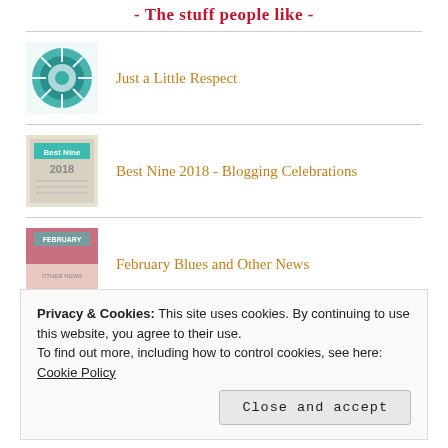- The stuff people like -
Just a Little Respect
Best Nine 2018 - Blogging Celebrations
February Blues and Other News
The Thoughts of A Breadaholic Who
Privacy & Cookies: This site uses cookies. By continuing to use this website, you agree to their use. To find out more, including how to control cookies, see here: Cookie Policy
Close and accept